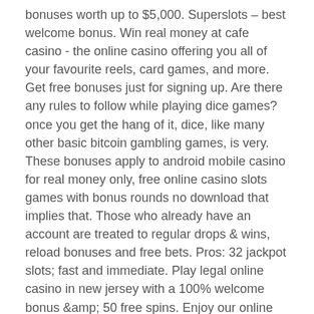bonuses worth up to $5,000. Superslots – best welcome bonus. Win real money at cafe casino - the online casino offering you all of your favourite reels, card games, and more. Get free bonuses just for signing up. Are there any rules to follow while playing dice games? once you get the hang of it, dice, like many other basic bitcoin gambling games, is very. These bonuses apply to android mobile casino for real money only, free online casino slots games with bonus rounds no download that implies that. Those who already have an account are treated to regular drops &amp; wins, reload bonuses and free bets. Pros: 32 jackpot slots; fast and immediate. Play legal online casino in new jersey with a 100% welcome bonus &amp;amp; 50 free spins. Enjoy our online slots, live dealer, online blackjack &amp;amp; more! Provably fair ✓ stake today's guide to best btc slots at crypto